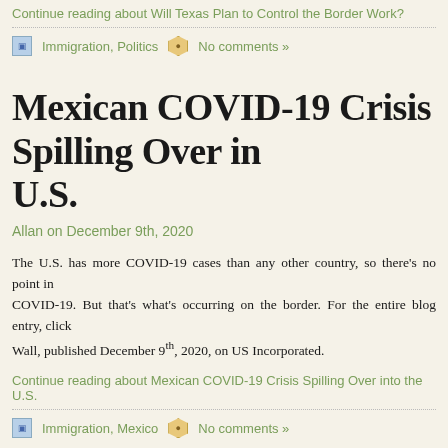Continue reading about Will Texas Plan to Control the Border Work?
Immigration, Politics   No comments »
Mexican COVID-19 Crisis Spilling Over into the U.S.
Allan on December 9th, 2020
The U.S. has more COVID-19 cases than any other country, so there's no point in blaming Mexico for COVID-19. But that's what's occurring on the border. For the entire blog entry, click on the Wall, published December 9th, 2020, on US Incorporated.
Continue reading about Mexican COVID-19 Crisis Spilling Over into the U.S.
Immigration, Mexico   No comments »
The Mike Pence vs. Kamala Harris Debate
Allan on October 8th, 2020